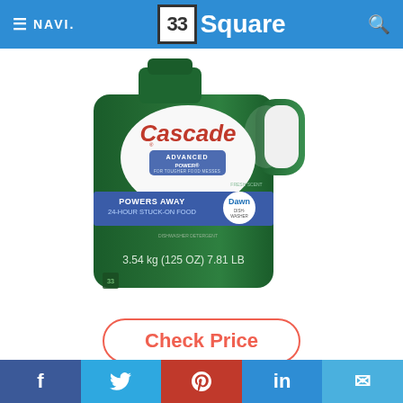≡ NAVI.   33 Square   🔍
[Figure (photo): Cascade Advanced Power dishwasher detergent bottle, green plastic jug, 3.54 kg (125 oz) 7.81 LB, Powers Away 24-Hour Stuck-On Food, Fresh Scent, with Dawn logo]
Check Price
Cascade also sells the best gel detergent
f  🐦  P  in  ✉